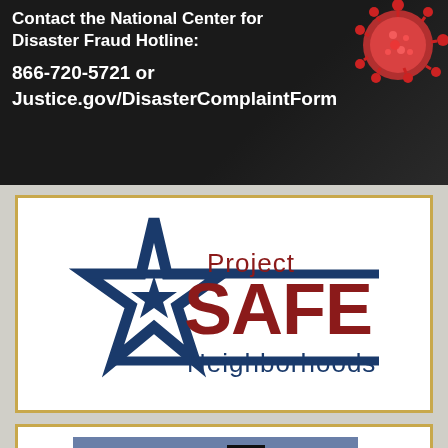[Figure (infographic): Dark banner with COVID virus image on right and white bold text: 'Contact the National Center for Disaster Fraud Hotline: 866-720-5721 or Justice.gov/DisasterComplaintForm']
[Figure (logo): Project SAFE Neighborhoods logo inside a golden-bordered white box. Features a blue five-pointed star outline with a filled blue star in center, horizontal blue lines through the star, red bold text 'SAFE', dark blue text 'Project' above SAFE, and dark blue text 'Neighborhoods' below SAFE.]
[Figure (infographic): Partial banner inside a golden-bordered white box showing blue-gray background with white text 'Sexual harassment in housing is illegal.' and an image of a door on the right side.]